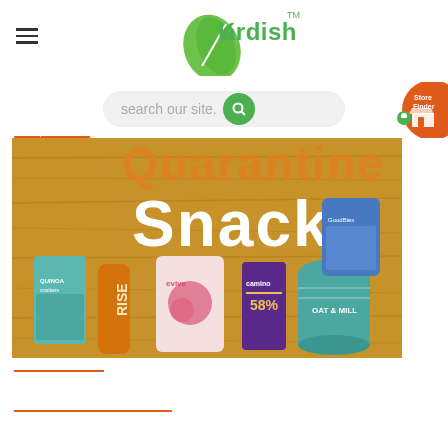[Figure (logo): Kardish logo with green leaf and TM mark]
[Figure (infographic): Big Savings on Popular Products badge - circular badge with green and orange colors]
[Figure (screenshot): Search bar with 'search our site' placeholder and green search button]
[Figure (infographic): Store Finder badge - orange circle with store icon]
[Figure (photo): Quarantine Snacks banner image showing various snack products on wooden background including Quinoa crackers, RISE juice, evive smoothie mix, Camino chocolate, OAT&MILL, and an indistinct blue bag]
Seasnax
Dulse Seaweed